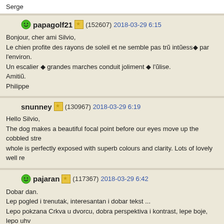Serge
papagolf21 (152607) 2018-03-29 6:15
Bonjour, cher ami Silvio,
Le chien profite des rayons de soleil et ne semble pas trũ intũess◆ par l'environ.
Un escalier ◆ grandes marches conduit joliment ◆ l'ũlise.
Amitiũ.
Philippe
snunney (130967) 2018-03-29 6:19
Hello Silvio,
The dog makes a beautiful focal point before our eyes move up the cobbled stre
whole is perfectly exposed with superb colours and clarity. Lots of lovely well re
pajaran (117367) 2018-03-29 6:42
Dobar dan.
Lep pogled i trenutak, interesantan i dobar tekst ...
Lepo pokzana Crkva u dvorcu, dobra perspektiva i kontrast, lepe boje, lepo uhv
Lepa arhitektura i stepeniste, lepa Crkva u pozadini.
Zelim vam lepo popodne, sve najbolje.
Paja.